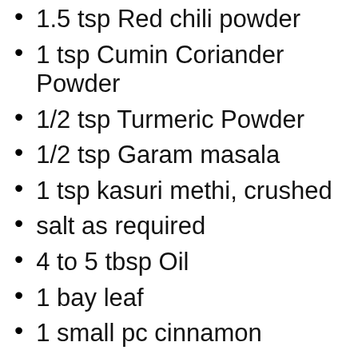1.5 tsp Red chili powder
1 tsp Cumin Coriander Powder
1/2 tsp Turmeric Powder
1/2 tsp Garam masala
1 tsp kasuri methi, crushed
salt as required
4 to 5 tbsp Oil
1 bay leaf
1 small pc cinnamon